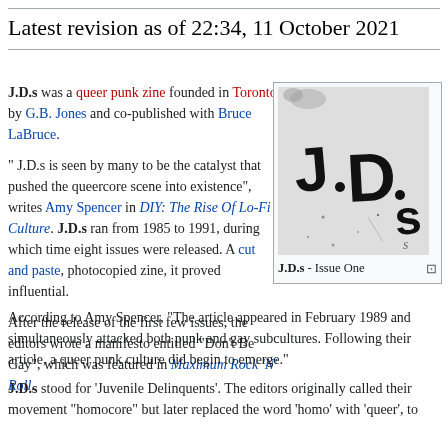Latest revision as of 22:34, 11 October 2021
J.D.s was a queer punk zine founded in Toronto by G.B. Jones and co-published with Bruce LaBruce.
" J.D.s is seen by many to be the catalyst that pushed the queercore scene into existence", writes Amy Spencer in DIY: The Rise Of Lo-Fi Culture. J.D.s ran from 1985 to 1991, during which time eight issues were released. A cut and paste, photocopied zine, it proved influential.
[Figure (photo): Black and white image of J.D.s zine Issue One cover showing bold stencil letters 'J.D.s']
J.D.s - Issue One
After the release of the first few issues, the editors wrote a manifesto entitled "Don't Be Gay", which was featured in Maximum Rock 'N' Roll. According to Amy Spencer, "The article appeared in February 1989 and simultaneously attacked both punk and gay subcultures. Following their article, a queer punk culture did begin to emerge."
J.D.s stood for 'Juvenile Delinquents'. The editors originally called their movement "homocore" but later replaced the word 'homo' with 'queer', to